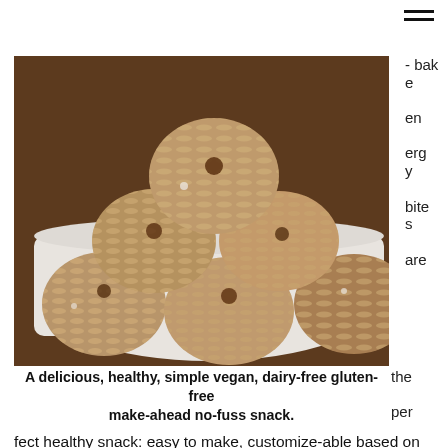[Figure (photo): A stack of oat energy bites on a white plate on a wooden surface]
A delicious, healthy, simple vegan, dairy-free gluten-free make-ahead no-fuss snack.
- bake energy bites are the perfect healthy snack: easy to make, customize-able based on your pantry ingredients, and they store incredibly well in the freezer. Use this recipe as a guide but feel free to